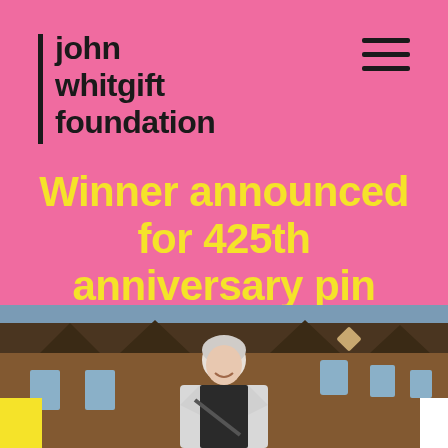[Figure (logo): John Whitgift Foundation logo with vertical black bar and bold black text reading 'john whitgift foundation']
Winner announced for 425th anniversary pin badge competition
[Figure (photo): Photograph of a woman with white/grey hair, smiling, wearing a black and white houndstooth jacket, standing in front of a historic brick building (Whitgift almshouses)]